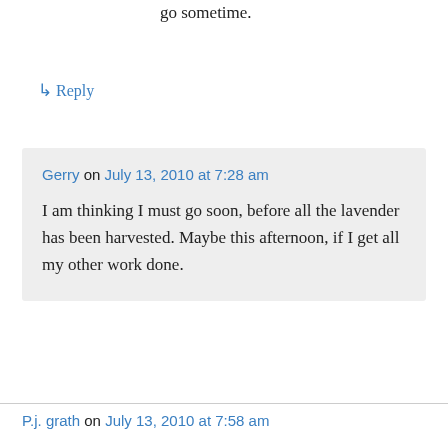go sometime.
↳ Reply
Gerry on July 13, 2010 at 7:28 am
I am thinking I must go soon, before all the lavender has been harvested. Maybe this afternoon, if I get all my other work done.
P.j. grath on July 13, 2010 at 7:58 am
Unusual perspective on a lavender field, seeing it as a complete, tilted, distant rectangle of color. I wonder how many happy bees are at work there.